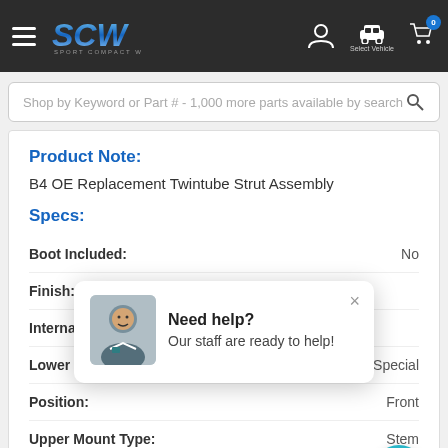SCW Sport Compact Warehouse - Navigation bar with hamburger menu, user icon, select vehicle icon, cart with 0 items
Shop by Keyword or Part # - 1,000 more parts available by search
Product Note:
B4 OE Replacement Twintube Strut Assembly
Specs:
Boot Included: No
Finish:
Internal
Lower Mount Type: Special
Position: Front
Upper Mount Type: Stem
[Figure (screenshot): Chat popup overlay: 'Need help? Our staff are ready to help!' with agent avatar photo and close X button. A teal chat bubble button appears in bottom right.]